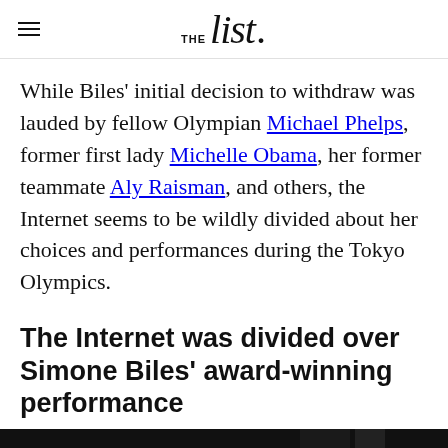THE list.
While Biles' initial decision to withdraw was lauded by fellow Olympian Michael Phelps, former first lady Michelle Obama, her former teammate Aly Raisman, and others, the Internet seems to be wildly divided about her choices and performances during the Tokyo Olympics.
The Internet was divided over Simone Biles' award-winning performance
[Figure (photo): Simone Biles performing a gymnastics move, airborne in a blue leotard, dark background with Japanese and Olympic flags visible in the background.]